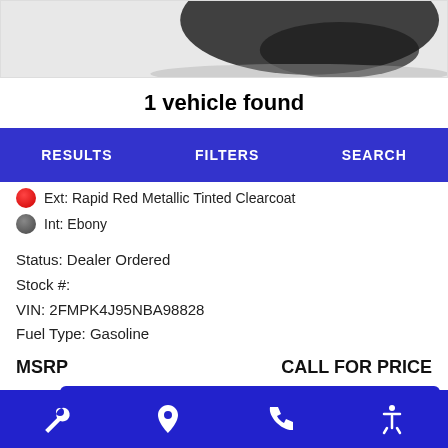[Figure (photo): Partial view of a car (dark colored) seen from above/front, cut off at top of page]
1 vehicle found
RESULTS   FILTERS   SEARCH
Ext: Rapid Red Metallic Tinted Clearcoat
Int: Ebony
Status: Dealer Ordered
Stock #:
VIN: 2FMPK4J95NBA98828
Fuel Type: Gasoline
MSRP   CALL FOR PRICE
Calculate Your Payment
Trade or Sell?
Start Pre-Order
Service icon  Location icon  Phone icon  Accessibility icon